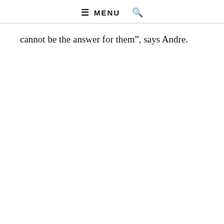≡ MENU 🔍
cannot be the answer for them”, says Andre.